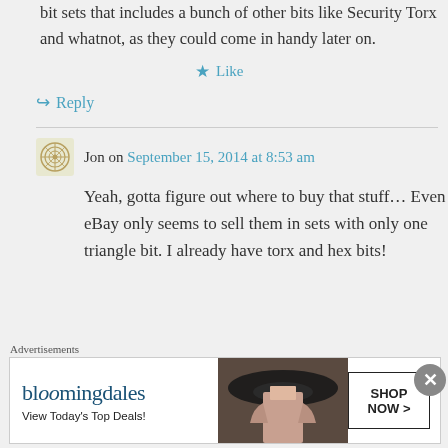bit sets that includes a bunch of other bits like Security Torx and whatnot, as they could come in handy later on.
★ Like
↪ Reply
Jon on September 15, 2014 at 8:53 am
Yeah, gotta figure out where to buy that stuff… Even eBay only seems to sell them in sets with only one triangle bit. I already have torx and hex bits!
Advertisements
[Figure (screenshot): Bloomingdale's advertisement banner: 'bloomingdales View Today's Top Deals!' with a woman in a hat, and 'SHOP NOW >' button]